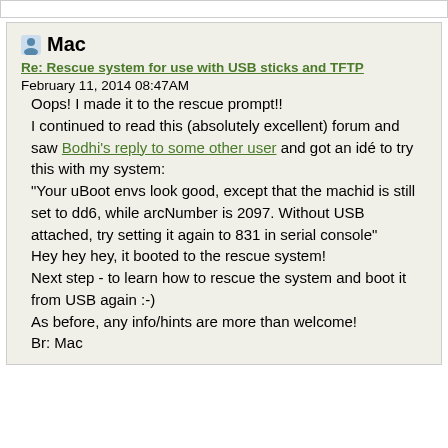Mac
Re: Rescue system for use with USB sticks and TFTP
February 11, 2014 08:47AM
Oops! I made it to the rescue prompt!!
I continued to read this (absolutely excellent) forum and saw Bodhi's reply to some other user and got an idé to try this with my system:
"Your uBoot envs look good, except that the machid is still set to dd6, while arcNumber is 2097. Without USB attached, try setting it again to 831 in serial console"
Hey hey hey, it booted to the rescue system!
Next step - to learn how to rescue the system and boot it from USB again :-)
As before, any info/hints are more than welcome!
Br: Mac